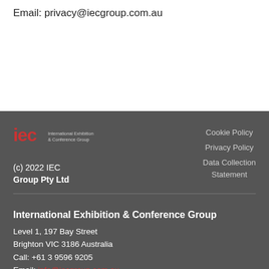Email: privacy@iecgroup.com.au
[Figure (logo): IEC International Exhibition & Conference Group logo with red 'iec' text and white small text]
(c) 2022 IEC Group Pty Ltd
Cookie Policy
Privacy Policy
Data Collection Statement
International Exhibition & Conference Group
Level 1, 197 Bay Street
Brighton VIC 3186 Australia
Call: +61 3 9596 9205
Email: info@iecgroup.com.au